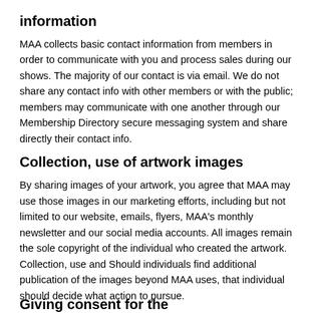information
MAA collects basic contact information from members in order to communicate with you and process sales during our shows. The majority of our contact is via email. We do not share any contact info with other members or with the public; members may communicate with one another through our Membership Directory secure messaging system and share directly their contact info.
Collection, use of artwork images
By sharing images of your artwork, you agree that MAA may use those images in our marketing efforts, including but not limited to our website, emails, flyers, MAA's monthly newsletter and our social media accounts. All images remain the sole copyright of the individual who created the artwork. Collection, use and Should individuals find additional publication of the images beyond MAA uses, that individual should decide what action to pursue.
Giving consent for the...